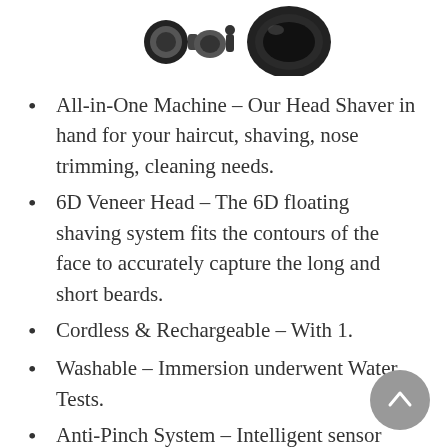[Figure (photo): Product image showing shaver heads/attachments in black and white]
All-in-One Machine – Our Head Shaver in hand for your haircut, shaving, nose trimming, cleaning needs.
6D Veneer Head – The 6D floating shaving system fits the contours of the face to accurately capture the long and short beards.
Cordless & Rechargeable – With 1.
Washable – Immersion underwent Water Tests.
Anti-Pinch System – Intelligent sensor battery status with low power can also maintain stable